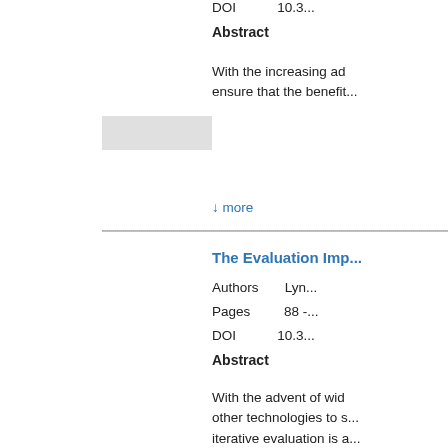DOI	10.3...
Abstract
With the increasing ad... ensure that the benefit...
↓ more
The Evaluation Imp...
Authors	Lyn...
Pages	88 -...
DOI	10.3...
Abstract
With the advent of wid... other technologies to s... iterative evaluation is a...
↓ more
User-Centered Des... Line with the Nursi...
Authors	Mar...
		Jan...
		Mar...
Pages	93 -...
DOI	10.3...